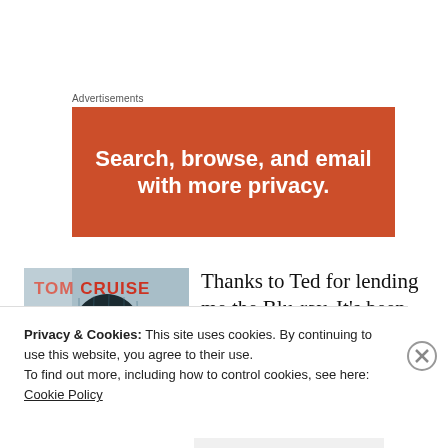Advertisements
[Figure (infographic): Orange advertisement banner with white bold text: Search, browse, and email with more privacy.]
[Figure (photo): Tom Cruise movie cover Blu-ray image]
Thanks to Ted for lending me the Blu-ray. It's been ages since I
Privacy & Cookies: This site uses cookies. By continuing to use this website, you agree to their use.
To find out more, including how to control cookies, see here: Cookie Policy
Close and accept